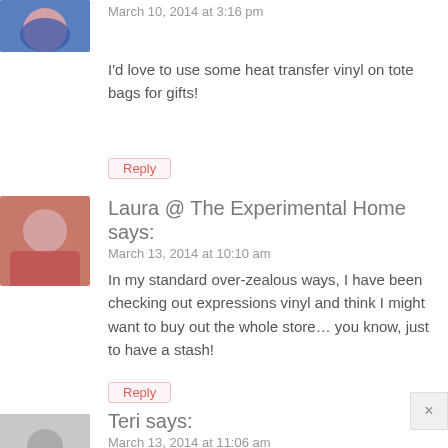[Figure (photo): Avatar of first commenter - woman in blue top, cropped at top]
March 10, 2014 at 3:16 pm
I'd love to use some heat transfer vinyl on tote bags for gifts!
Reply
[Figure (photo): Avatar of Laura - woman in red/pink top]
Laura @ The Experimental Home says:
March 13, 2014 at 10:10 am
In my standard over-zealous ways, I have been checking out expressions vinyl and think I might want to buy out the whole store… you know, just to have a stash!
Reply
[Figure (photo): Generic avatar placeholder for Teri]
Teri says:
March 13, 2014 at 11:06 am
On the top of my list is the chalkboard vinyl. I just lov it!
Reply